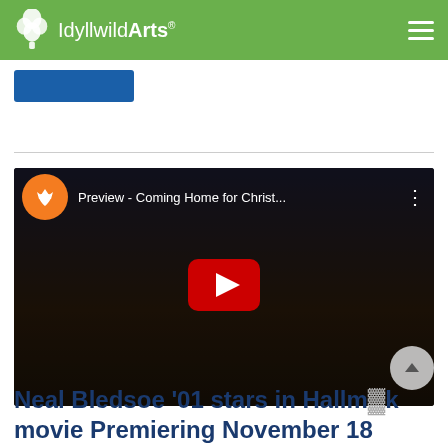Idyllwild Arts
[Figure (screenshot): YouTube video thumbnail showing a preview of 'Coming Home for Christ...' with three people in formal attire — two men in suits and a woman in a blue dress. A red YouTube play button is visible in the center. The video belongs to a channel with an orange circular icon featuring a crown and heart logo.]
Neal Bledsoe '01 stars in Hallmark movie Premiering November 18